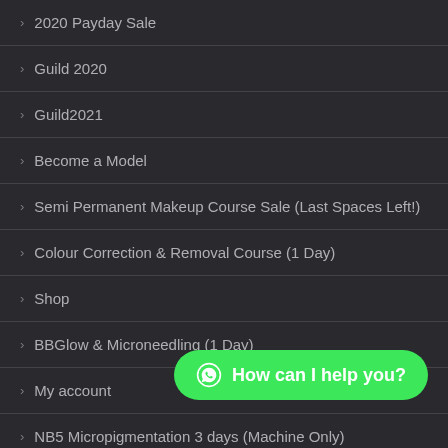2020 Payday Sale
Guild 2020
Guild2021
Become a Model
Semi Permanent Makeup Course Sale (Last Spaces Left!)
Colour Correction & Removal Course (1 Day)
Shop
BBGlow & Microneedling (1 Day)
My account
NB5 Micropigmentation 3 days (Machine Only)
Review LVC on Google
Demo
[Figure (other): WhatsApp chat button overlay with green background and text 'How can I help you?']